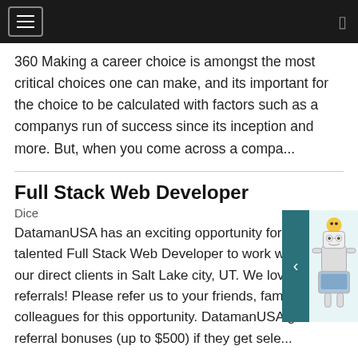Navigation bar with hamburger menu
360 Making a career choice is amongst the most critical choices one can make, and its important for the choice to be calculated with factors such as a companys run of success since its inception and more. But, when you come across a compa...
Full Stack Web Developer
Dice
DatamanUSA has an exciting opportunity for a talented Full Stack Web Developer to work with one of our direct clients in Salt Lake city, UT. We love referrals! Please refer us to your friends, family and colleagues for this opportunity. DatamanUSA gives referral bonuses (up to $500) if they get sele...
WordPress Developer//Day 1 On-site/Locals only